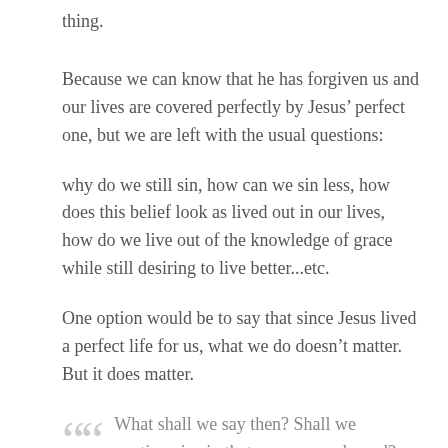thing.
Because we can know that he has forgiven us and our lives are covered perfectly by Jesus’ perfect one, but we are left with the usual questions:
why do we still sin, how can we sin less, how does this belief look as lived out in our lives, how do we live out of the knowledge of grace while still desiring to live better...etc.
One option would be to say that since Jesus lived a perfect life for us, what we do doesn’t matter. But it does matter.
“What shall we say then? Shall we continue in sin that grace may abound? Certainly not! How